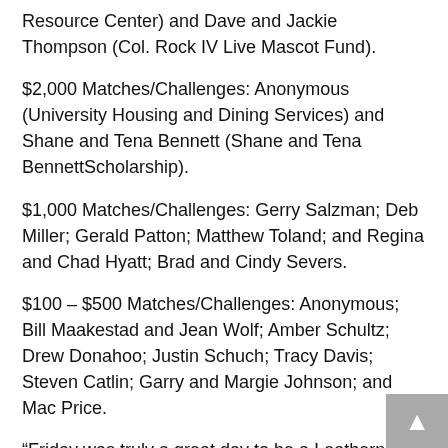Resource Center) and Dave and Jackie Thompson (Col. Rock IV Live Mascot Fund).
$2,000 Matches/Challenges: Anonymous (University Housing and Dining Services) and Shane and Tena Bennett (Shane and Tena BennettScholarship).
$1,000 Matches/Challenges: Gerry Salzman; Deb Miller; Gerald Patton; Matthew Toland; and Regina and Chad Hyatt; Brad and Cindy Severs.
$100 – $500 Matches/Challenges: Anonymous; Bill Maakestad and Jean Wolf; Amber Schultz; Drew Donahoo; Justin Schuch; Tracy Davis; Steven Catlin; Garry and Margie Johnson; and Mac Price.
“Friday was truly a great day to be a Leatherneck. Congratulations to our Annual Fund Executive Director Tim Hallinan on a job well done in coordinating a successful day,” said Assistant Vice President for Alumni Relations Amy Spelman. “The